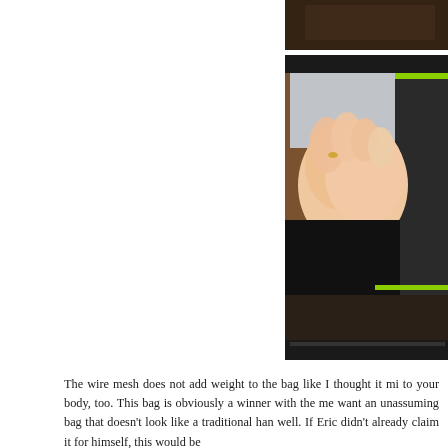[Figure (photo): Top partial photo showing a dark brown leather/fabric surface, cropped at the top of the page]
[Figure (photo): A hand reaching into the interior of a black bag/purse with a green zipper accent, showing the inside compartment with gray lining]
The wire mesh does not add weight to the bag like I thought it mi to your body, too. This bag is obviously a winner with the me want an unassuming bag that doesn't look like a traditional han well. If Eric didn't already claim it for himself, this would be